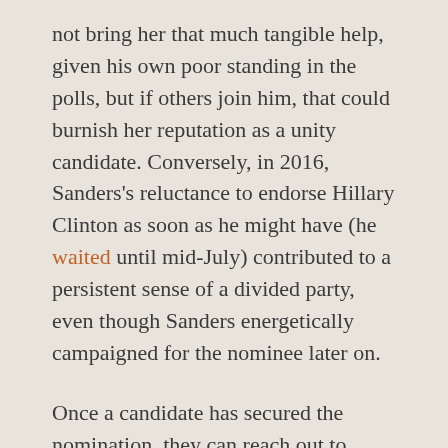not bring her that much tangible help, given his own poor standing in the polls, but if others join him, that could burnish her reputation as a unity candidate. Conversely, in 2016, Sanders's reluctance to endorse Hillary Clinton as soon as he might have (he waited until mid-July) contributed to a persistent sense of a divided party, even though Sanders energetically campaigned for the nominee later on.
Once a candidate has secured the nomination, they can reach out to disappointed party factions of identity groups via their choice of running mate. It is generally expected that any male nominee in 2020 will seek a woman as a running mate, and vice versa; the days of two white men forming a ticket are probably over for the time being among Democrats. But trans-ideological and multigenerational ticket-making could be a factor as